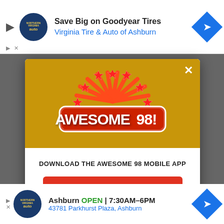[Figure (screenshot): Top advertisement banner for Virginia Tire & Auto of Ashburn with Goodyear tires offer]
[Figure (screenshot): Awesome 98 radio station mobile app download modal popup with logo, download button, and Amazon Alexa listen option]
[Figure (screenshot): Bottom advertisement banner for Virginia Tire & Auto of Ashburn, Ashburn OPEN 7:30AM-6PM, 43781 Parkhurst Plaza]